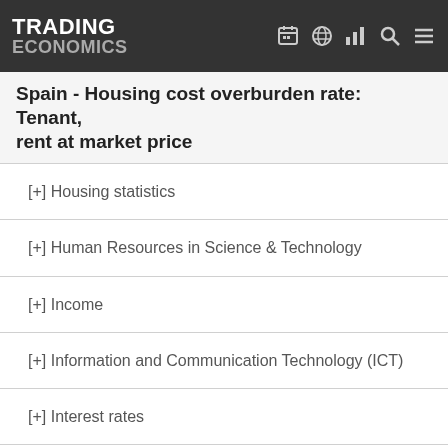TRADING ECONOMICS
Spain - Housing cost overburden rate: Tenant, rent at market price
[+] Housing statistics
[+] Human Resources in Science & Technology
[+] Income
[+] Information and Communication Technology (ICT)
[+] Interest rates
[+] International investment position
[+] International Trade
[+] Labour
[+] Livestock and meat